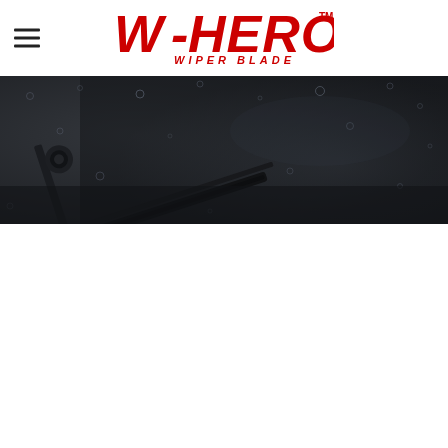[Figure (logo): W-HERO Wiper Blade logo in red with TM mark, centered in white header bar]
[Figure (photo): Dark moody photo of a wiper blade on a rain-wet windshield, viewed close up, dark grey tones]